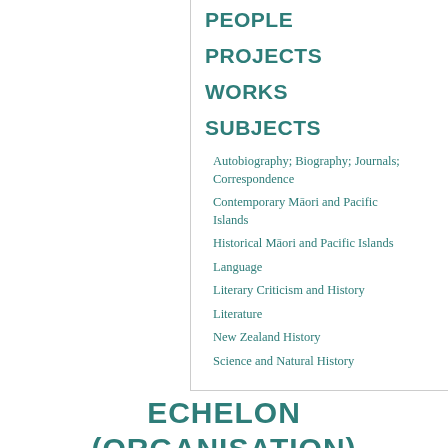PEOPLE
PROJECTS
WORKS
SUBJECTS
Autobiography; Biography; Journals; Correspondence
Contemporary Māori and Pacific Islands
Historical Māori and Pacific Islands
Language
Literary Criticism and History
Literature
New Zealand History
Science and Natural History
ECHELON (ORGANISATION)